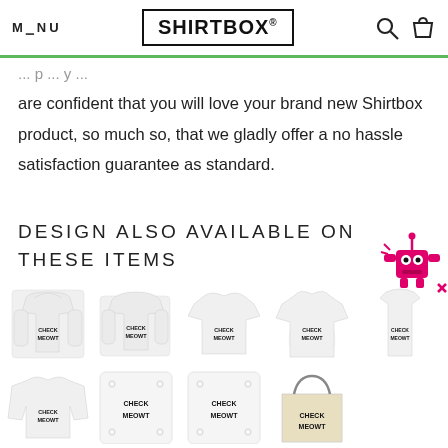MENU | SHIRTBOX® | [search icon] [bag icon]
are confident that you will love your brand new Shirtbox product, so much so, that we gladly offer a no hassle satisfaction guarantee as standard.
DESIGN ALSO AVAILABLE ON THESE ITEMS
[Figure (photo): Grid of 9 apparel and accessory products all featuring 'CHECK MEOWT' cat design: hoodie, sweatshirt, t-shirt, ladies t-shirt, vest/tank top (top row); long sleeve shirt, cushion, cushion, tote bag (bottom row)]